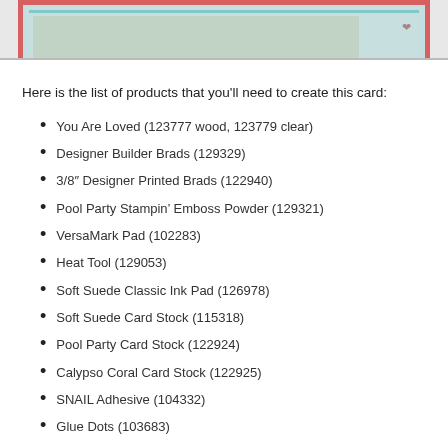[Figure (photo): Partial photo of a handmade card with red/coral border and teal/pool party layer, showing decorative stamps.]
Here is the list of products that you’ll need to create this card:
You Are Loved (123777 wood, 123779 clear)
Designer Builder Brads (129329)
3/8″ Designer Printed Brads (122940)
Pool Party Stampin’ Emboss Powder (129321)
VersaMark Pad (102283)
Heat Tool (129053)
Soft Suede Classic Ink Pad (126978)
Soft Suede Card Stock (115318)
Pool Party Card Stock (122924)
Calypso Coral Card Stock (122925)
SNAIL Adhesive (104332)
Glue Dots (103683)
Paper-Piercing Tool (126189)
Stampin’ Pierce Mat (126199)